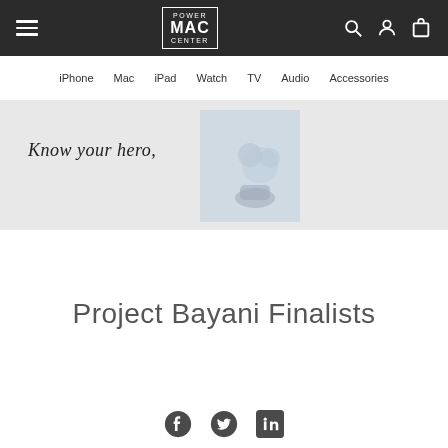Power MAC Center — navigation header with hamburger menu, logo, search, account, and cart icons
iPhone   Mac   iPad   Watch   TV   Audio   Accessories
[Figure (photo): Hero banner with handwritten cursive text 'Know your hero,' and a blue-tinted floral/shoe image on a light gray background]
Project Bayani Finalists
[Figure (infographic): Social sharing icons: Facebook, Twitter, LinkedIn]